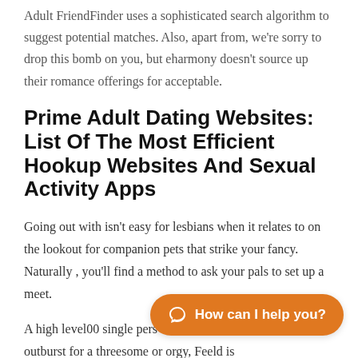Adult FriendFinder uses a sophisticated search algorithm to suggest potential matches. Also, apart from, we're sorry to drop this bomb on you, but eharmony doesn't source up their romance offerings for acceptable.
Prime Adult Dating Websites: List Of The Most Efficient Hookup Websites And Sexual Activity Apps
Going out with isn't easy for lesbians when it relates to on the lookout for companion pets that strike your fancy. Naturally , you'll find a method to ask your pals to set up a meet.
A high level00 single pers within the outburst for a threesome or orgy, Feeld is